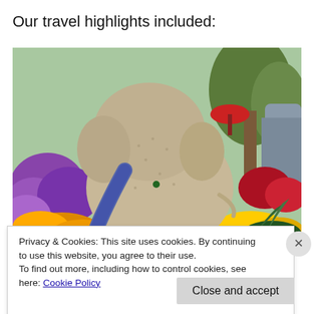Our travel highlights included:
[Figure (photo): A large elephant sculpture made of seeds/gravel, viewed from behind, surrounded by colorful flower arrangements including purple, yellow, and red flowers in a garden display setting.]
Privacy & Cookies: This site uses cookies. By continuing to use this website, you agree to their use.
To find out more, including how to control cookies, see here: Cookie Policy